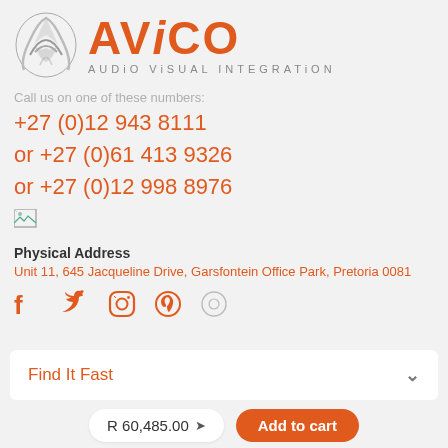[Figure (logo): AViCO Audio Visual Integration logo with stylized A icon and orange text]
Call us on one of these numbers:
+27 (0)12 943 8111
or +27 (0)61 413 9326
or +27 (0)12 998 8976
[Figure (other): Broken image icon (small)]
Physical Address
Unit 11, 645 Jacqueline Drive, Garsfontein Office Park, Pretoria 0081
[Figure (other): Social media icons: Facebook, Twitter, Instagram, Pinterest, and one more]
Find It Fast
R 60,485.00
Add to cart